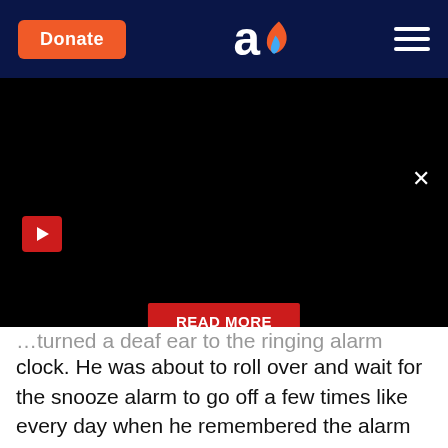Donate | [logo] | [menu]
[Figure (screenshot): Black video player area with red play button on left, X close button top right, and red READ MORE button in center]
...turned a deaf ear to the ringing alarm clock. He was about to roll over and wait for the snooze alarm to go off a few times like every day when he remembered the alarm had gone off because he was supposed to go skiing. The boy jumped out of bed full of energy. He flew into his clothes and shoes, and nearly slid down the banister. He expected his mother to be sleeping - since he was off from school, she didn't have to get up early either - but was surprised to see her up and busy at the kitchen counter.